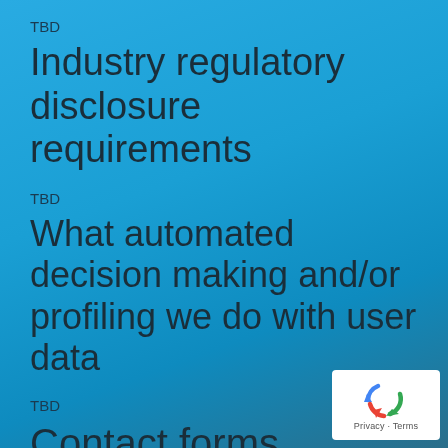TBD
Industry regulatory disclosure requirements
TBD
What automated decision making and/or profiling we do with user data
TBD
Contact forms
[Figure (logo): Google reCAPTCHA privacy badge with recycling-style arrows icon and 'Privacy · Terms' text]